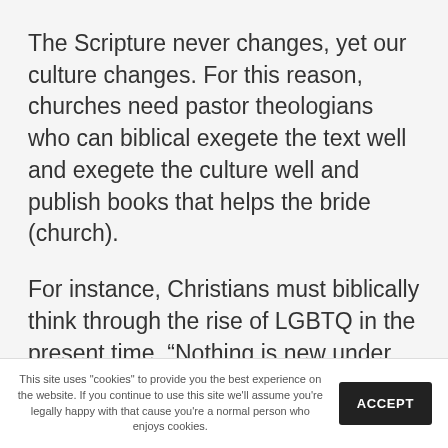The Scripture never changes, yet our culture changes. For this reason, churches need pastor theologians who can biblical exegete the text well and exegete the culture well and publish books that helps the bride (church).
For instance, Christians must biblically think through the rise of LGBTQ in the present time. “Nothing is new under the sun” (Ecc 1:9) as Scripture says, yet Christians must respond
This site uses "cookies" to provide you the best experience on the website. If you continue to use this site we’ll assume you're legally happy with that cause you're a normal person who enjoys cookies.